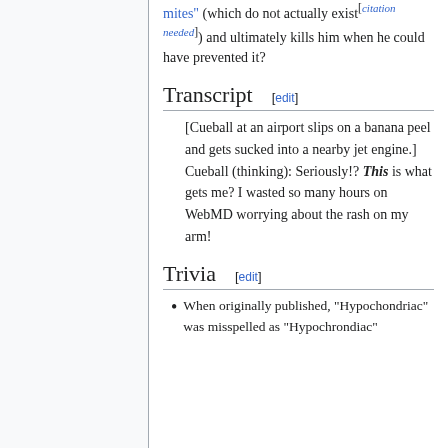mites" (which do not actually exist[citation needed]) and ultimately kills him when he could have prevented it?
Transcript [edit]
[Cueball at an airport slips on a banana peel and gets sucked into a nearby jet engine.]
Cueball (thinking): Seriously!? This is what gets me? I wasted so many hours on WebMD worrying about the rash on my arm!
Trivia [edit]
When originally published, "Hypochondriac" was misspelled as "Hypochrondiac"